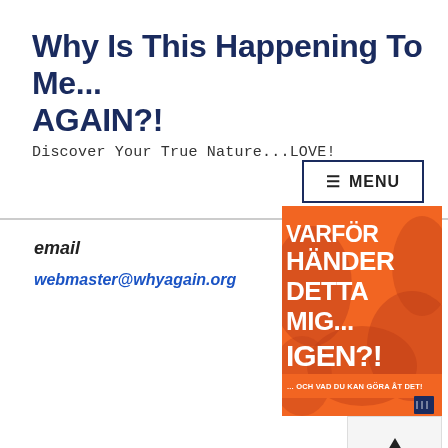Why Is This Happening To Me... AGAIN?!
Discover Your True Nature...LOVE!
email
webmaster@whyagain.org
[Figure (illustration): Orange book cover with Swedish title text: VARFÖR HÄNDER DETTA MIG... IGEN? with subtitle ...OCH VAD DU KAN GÖRA ÅT DET!]